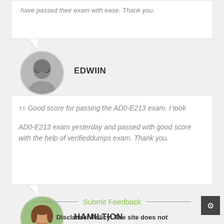have passed their exam with ease. Thank you.
[Figure (photo): Circular avatar photo of EDWIIN, a man with glasses and dark hair]
EDWIIN
Good score for passing the AD0-E213 exam. I took AD0-E213 exam yesterday and passed with good score with the help of verifieddumps exam. Thank you.
[Figure (photo): Circular avatar photo of HAMILTION, a woman smiling with brown hair]
HAMILTION
Submit Feedback
Disclaimer Policy: The site does not